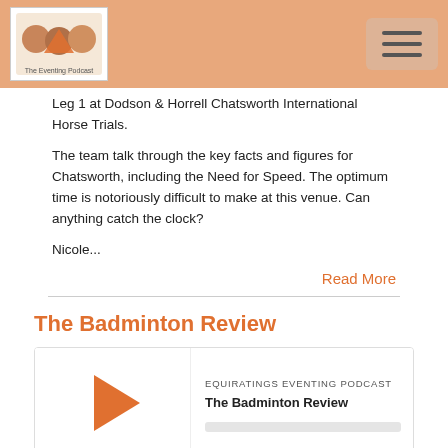The Eventing Podcast
Leg 1 at Dodson & Horrell Chatsworth International Horse Trials.
The team talk through the key facts and figures for Chatsworth, including the Need for Speed. The optimum time is notoriously difficult to make at this venue. Can anything catch the clock?
Nicole...
Read More
The Badminton Review
[Figure (screenshot): Podcast player widget showing EQUIRATINGS EVENTING PODCAST, title The Badminton Review, with play button, progress bar, and controls including time 00:00:00, RSS, download, embed, and headphone icons]